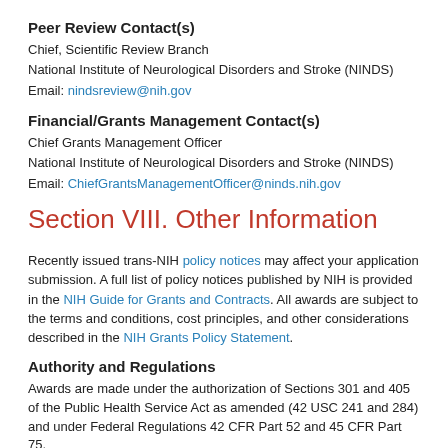Peer Review Contact(s)
Chief, Scientific Review Branch
National Institute of Neurological Disorders and Stroke (NINDS)
Email: nindsreview@nih.gov
Financial/Grants Management Contact(s)
Chief Grants Management Officer
National Institute of Neurological Disorders and Stroke (NINDS)
Email: ChiefGrantsManagementOfficer@ninds.nih.gov
Section VIII. Other Information
Recently issued trans-NIH policy notices may affect your application submission. A full list of policy notices published by NIH is provided in the NIH Guide for Grants and Contracts. All awards are subject to the terms and conditions, cost principles, and other considerations described in the NIH Grants Policy Statement.
Authority and Regulations
Awards are made under the authorization of Sections 301 and 405 of the Public Health Service Act as amended (42 USC 241 and 284) and under Federal Regulations 42 CFR Part 52 and 45 CFR Part 75.